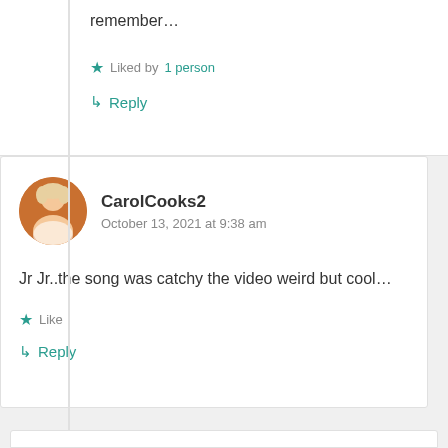remember…
★ Liked by 1 person
↳ Reply
CarolCooks2
October 13, 2021 at 9:38 am
Jr Jr..the song was catchy the video weird but cool…
★ Like
↳ Reply